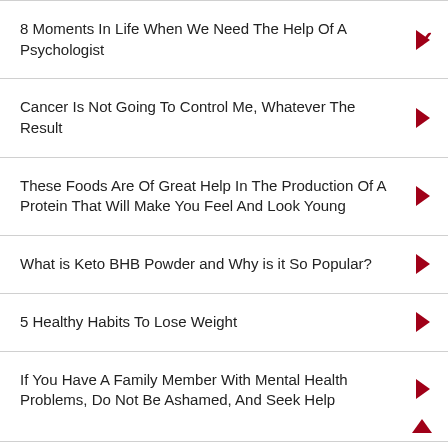8 Moments In Life When We Need The Help Of A Psychologist
Cancer Is Not Going To Control Me, Whatever The Result
These Foods Are Of Great Help In The Production Of A Protein That Will Make You Feel And Look Young
What is Keto BHB Powder and Why is it So Popular?
5 Healthy Habits To Lose Weight
If You Have A Family Member With Mental Health Problems, Do Not Be Ashamed, And Seek Help